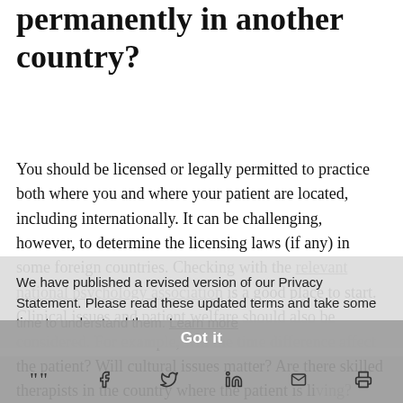permanently in another country?
You should be licensed or legally permitted to practice both where you and where your patient are located, including internationally. It can be challenging, however, to determine the licensing laws (if any) in some foreign countries. Checking with the relevant national psychology association is a good place to start. Clinical issues and patient welfare should also be considered. For example, will the time difference affect the patient? Will cultural issues matter? Are there skilled therapists in the country where the patient is living?
We have published a revised version of our Privacy Statement. Please read these updated terms and take some time to understand them. Learn more
Got it
share icons: quote, facebook, twitter, linkedin, mail, print